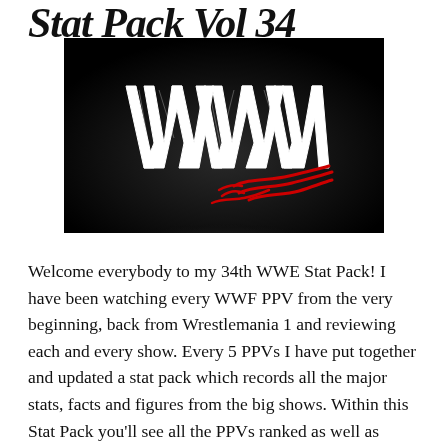Stat Pack Vol 34
[Figure (logo): WWE logo — white stylized W letters on a dark/black background with red brush-stroke signature element at the bottom right]
Welcome everybody to my 34th WWE Stat Pack! I have been watching every WWF PPV from the very beginning, back from Wrestlemania 1 and reviewing each and every show. Every 5 PPVs I have put together and updated a stat pack which records all the major stats, facts and figures from the big shows. Within this Stat Pack you'll see all the PPVs ranked as well as which wrestlers have fought the most matches, who has the